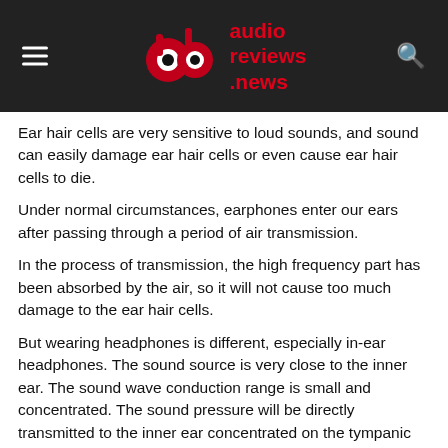audio reviews .news
Ear hair cells are very sensitive to loud sounds, and sound can easily damage ear hair cells or even cause ear hair cells to die.
Under normal circumstances, earphones enter our ears after passing through a period of air transmission.
In the process of transmission, the high frequency part has been absorbed by the air, so it will not cause too much damage to the ear hair cells.
But wearing headphones is different, especially in-ear headphones. The sound source is very close to the inner ear. The sound wave conduction range is small and concentrated. The sound pressure will be directly transmitted to the inner ear concentrated on the tympanic membrane. There is no room for buffering. .